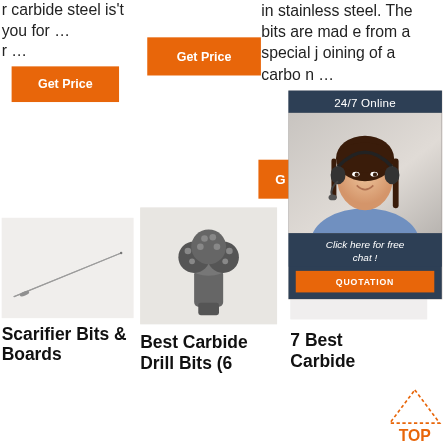r carbide steel is't you for … r …
in stainless steel. The bits are made from a special joining of a carbon …
[Figure (screenshot): Orange 'Get Price' button (left column)]
[Figure (screenshot): Orange 'Get Price' button (center column)]
[Figure (screenshot): Orange 'G' button (partial, right column)]
[Figure (infographic): Customer support chat widget with '24/7 Online' header, photo of woman with headset, 'Click here for free chat!' text, and orange QUOTATION button]
[Figure (photo): Scarifier needle/bit tool in grayscale]
[Figure (photo): Carbide drill bit (tri-cone style) in grayscale]
[Figure (photo): Partial product image (right, cropped)]
Scarifier Bits & Boards
Best Carbide Drill Bits (6
7 Best Carbide